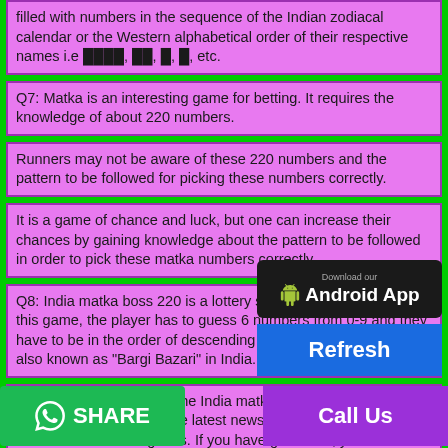filled with numbers in the sequence of the Indian zodiacal calendar or the Western alphabetical order of their respective names i.e ████, ██, █, █, etc.
Q7: Matka is an interesting game for betting. It requires the knowledge of about 220 numbers.
Runners may not be aware of these 220 numbers and the pattern to be followed for picking these numbers correctly.
It is a game of chance and luck, but one can increase their chances by gaining knowledge about the pattern to be followed in order to pick these matka numbers correctly.
Q8: India matka boss 220 is a lottery style game of analysis. In this game, the player has to guess 6 numbers from 0-9 and they have to be in the order of descending numbers. This game is also known as "Bargi Bazari" in India.
Q9: It is difficult to win in the India matka game. You know the prediction of the game, the latest news, and analyze all these factors before making bets. If you have good luck, you can earn a lot of money in it. But if you do not know how to play well, then it will be difficult for you to earn money here.
[Figure (other): Download our Android App badge (black background, Android icon, white text)]
[Figure (other): Refresh button (blue background, white bold text)]
[Figure (other): Share button with WhatsApp icon (green background, white bold text)]
[Figure (other): Call Us button (purple background, white bold text)]